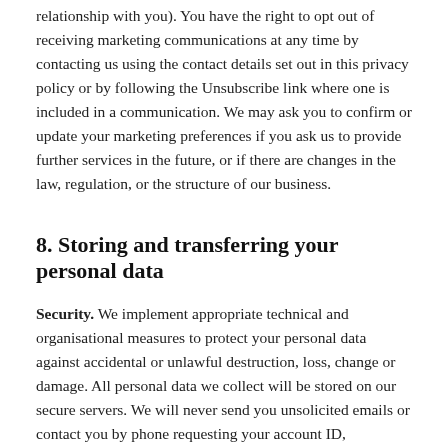relationship with you). You have the right to opt out of receiving marketing communications at any time by contacting us using the contact details set out in this privacy policy or by following the Unsubscribe link where one is included in a communication. We may ask you to confirm or update your marketing preferences if you ask us to provide further services in the future, or if there are changes in the law, regulation, or the structure of our business.
8. Storing and transferring your personal data
Security. We implement appropriate technical and organisational measures to protect your personal data against accidental or unlawful destruction, loss, change or damage. All personal data we collect will be stored on our secure servers. We will never send you unsolicited emails or contact you by phone requesting your account ID, password, bank account details or national identification numbers.